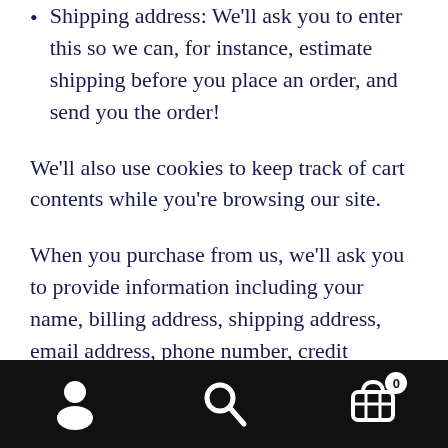Shipping address: We'll ask you to enter this so we can, for instance, estimate shipping before you place an order, and send you the order!
We'll also use cookies to keep track of cart contents while you're browsing our site.
When you purchase from us, we'll ask you to provide information including your name, billing address, shipping address, email address, phone number, credit card/payment details and optional account information like username and password. We'll use this information for purposes, such as, to:
Send you information about your account and order
Respond to your requests, including refunds and